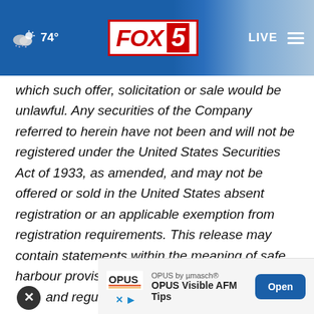FOX 5 | 74° | LIVE
which such offer, solicitation or sale would be unlawful. Any securities of the Company referred to herein have not been and will not be registered under the United States Securities Act of 1933, as amended, and may not be offered or sold in the United States absent registration or an applicable exemption from registration requirements. This release may contain statements within the meaning of safe harbour provisions as defined under securities l… and regul…
[Figure (screenshot): Advertisement banner: OPUS by µmasch® OPUS Visible AFM Tips with Open button]